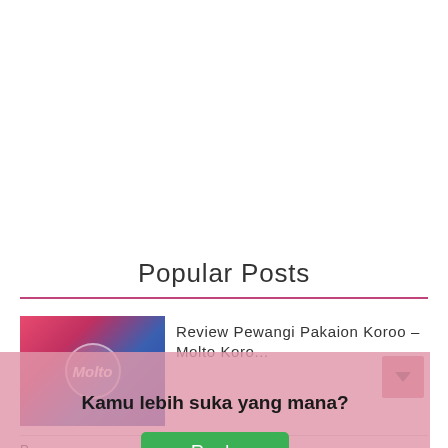Popular Posts
[Figure (photo): Thumbnail image of Molto fabric softener product, red and blue packaging]
Review Pewangi Pakaian Korea – Molto Kore...
Kamu lebih suka yang mana?
Reply